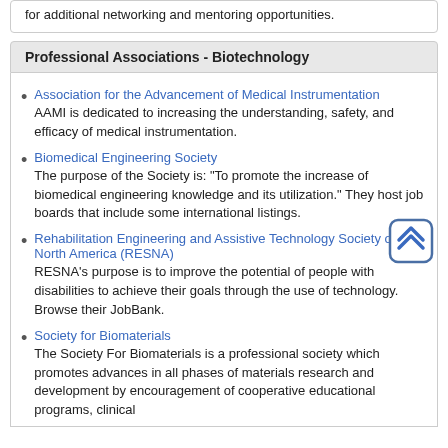for additional networking and mentoring opportunities.
Professional Associations - Biotechnology
Association for the Advancement of Medical Instrumentation
AAMI is dedicated to increasing the understanding, safety, and efficacy of medical instrumentation.
Biomedical Engineering Society
The purpose of the Society is: “To promote the increase of biomedical engineering knowledge and its utilization.” They host job boards that include some international listings.
Rehabilitation Engineering and Assistive Technology Society of North America (RESNA)
RESNA’s purpose is to improve the potential of people with disabilities to achieve their goals through the use of technology. Browse their JobBank.
Society for Biomaterials
The Society For Biomaterials is a professional society which promotes advances in all phases of materials research and development by encouragement of cooperative educational programs, clinical